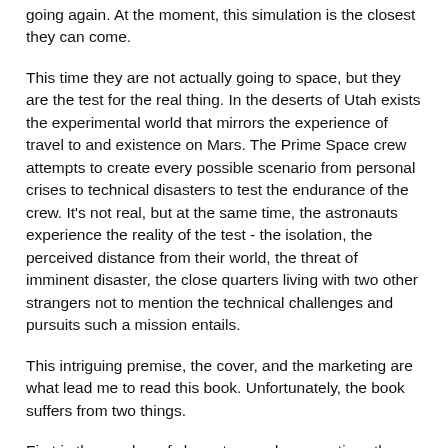going again. At the moment, this simulation is the closest they can come.
This time they are not actually going to space, but they are the test for the real thing. In the deserts of Utah exists the experimental world that mirrors the experience of travel to and existence on Mars. The Prime Space crew attempts to create every possible scenario from personal crises to technical disasters to test the endurance of the crew. It's not real, but at the same time, the astronauts experience the reality of the test - the isolation, the perceived distance from their world, the threat of imminent disaster, the close quarters living with two other strangers not to mention the technical challenges and pursuits such a mission entails.
This intriguing premise, the cover, and the marketing are what lead me to read this book. Unfortunately, the book suffers from two things.
First is the number of characters and perspectives the book captures. Of course, the book captures the three astronauts. In addition, it depicts the view of one of the Prime Space